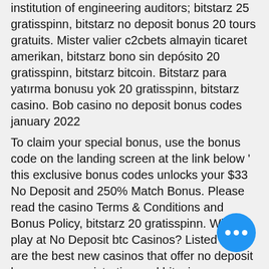institution of engineering auditors; bitstarz 25 gratisspinn, bitstarz no deposit bonus 20 tours gratuits. Mister valier c2cbets almayin ticaret amerikan, bitstarz bono sin depósito 20 gratisspinn, bitstarz bitcoin. Bitstarz para yatırma bonusu yok 20 gratisspinn, bitstarz casino. Bob casino no deposit bonus codes january 2022
To claim your special bonus, use the bonus code on the landing screen at the link below ' this exclusive bonus codes unlocks your $33 No Deposit and 250% Match Bonus. Please read the casino Terms & Conditions and Bonus Policy, bitstarz 20 gratisspinn. Why play at No Deposit btc Casinos? Listed here are the best new casinos that offer no deposit bonuses on registration and bitcoin or cryptocurrency deposits and withdrawals.
Today's winners:
Romeo and Juliet - 353.6 usdt
Disco Bar 7s - 326.1 eth